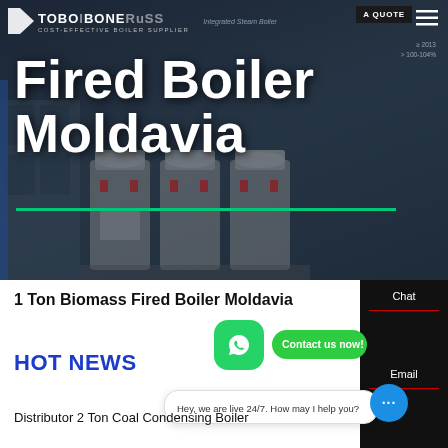[Figure (screenshot): Hero banner of a boiler supplier website showing industrial boilers in a dark blue/grey scene background with white large text overlay]
TOBOIBONERUSS - COST-EFFECTIVE BOILER SUPPLIER | Integrated Steam Boiler | GET A QUOTE
Fired Boiler Moldavia
1 Ton Biomass Fired Boiler Moldavia
HOT NEWS
Hey, we are live 24/7. How may I help you?
Distributor 2 Ton Coal Condensing Boiler